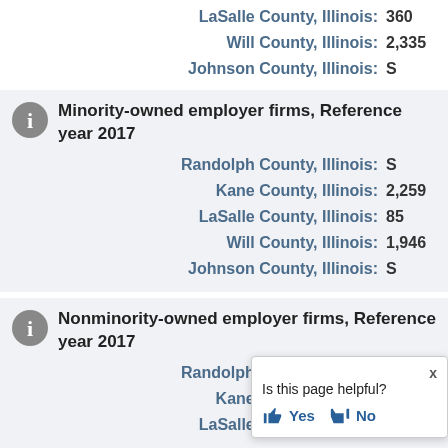LaSalle County, Illinois: 360
Will County, Illinois: 2,335
Johnson County, Illinois: S
Minority-owned employer firms, Reference year 2017
Randolph County, Illinois: S
Kane County, Illinois: 2,259
LaSalle County, Illinois: 85
Will County, Illinois: 1,946
Johnson County, Illinois: S
Nonminority-owned employer firms, Reference year 2017
Randolph County, Illinois: 391
Kane County, Illinois: [partially visible]
LaSalle County, Illinois: [partially visible]
Is this page helpful? Yes / No